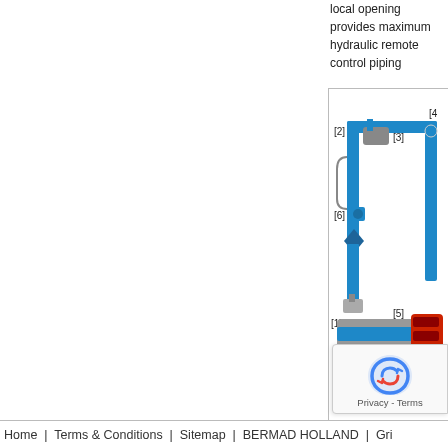local opening provides maximum hydraulic remote control piping
[Figure (engineering-diagram): Hydraulic valve schematic diagram showing components labeled [1] through [6] with blue pipes, red components, and grey body. Title reads 'Valve Closed (s...']
Home  |  Terms & Conditions  |  Sitemap  |  BERMAD HOLLAND  |  Gri...